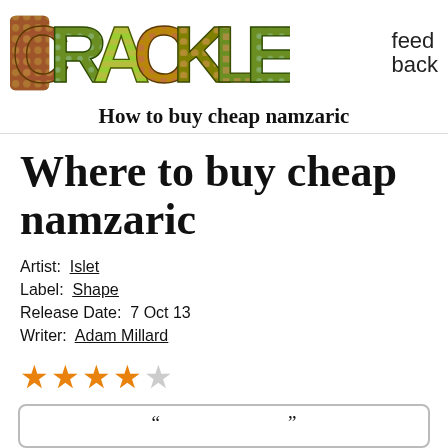[Figure (logo): Crackle logo with colorful textured letters and 'feed back' handwritten text to the right]
How to buy cheap namzaric
Where to buy cheap namzaric
Artist: Islet
Label: Shape
Release Date: 7 Oct 13
Writer: Adam Millard
[Figure (other): Star rating: 4 out of 5 stars, orange filled stars with one grey empty star]
"..." (partial quote box visible at bottom)